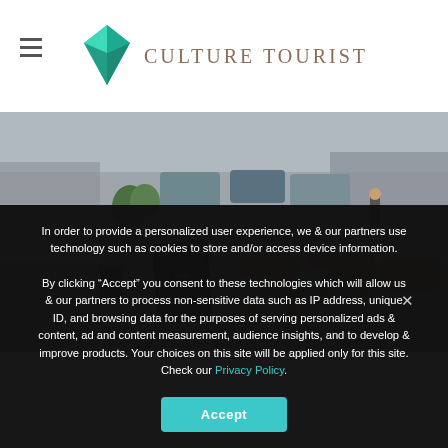CULTURE TOURIST
[Figure (photo): Outdoor cafe terrace on a cobblestone street with wooden chairs and tables, a chalkboard sandwich board sign in the foreground, buildings and parked cars visible in the background.]
In order to provide a personalized user experience, we & our partners use technology such as cookies to store and/or access device information.
By clicking “Accept” you consent to these technologies which will allow us & our partners to process non-sensitive data such as IP address, unique ID, and browsing data for the purposes of serving personalized ads & content, ad and content measurement, audience insights, and to develop & improve products. Your choices on this site will be applied only for this site. Check our Privacy Policy.